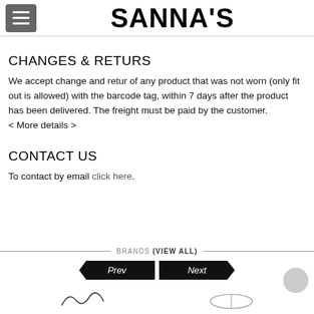SANNA'S
CHANGES & RETURS
We accept change and retur of any product that was not worn (only fit out is allowed) with the barcode tag, within 7 days after the product has been delivered. The freight must be paid by the customer.
< More details >
CONTACT US
To contact by email click here.
BRANDS (VIEW ALL)